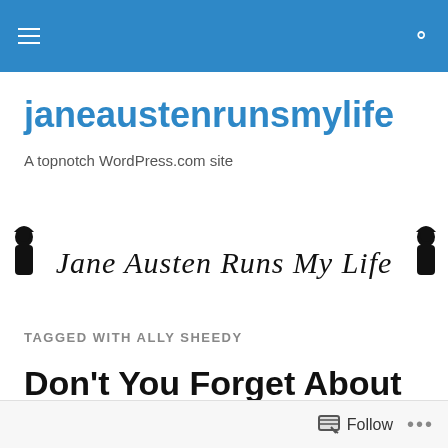janeaustenrunsmylife — navigation bar
janeaustenrunsmylife
A topnotch WordPress.com site
[Figure (illustration): Decorative script text reading 'Jane Austen Runs My Life' with Jane Austen silhouette figures on each side, in black on white background.]
TAGGED WITH ALLY SHEEDY
Don't You Forget About Me
Follow  •••